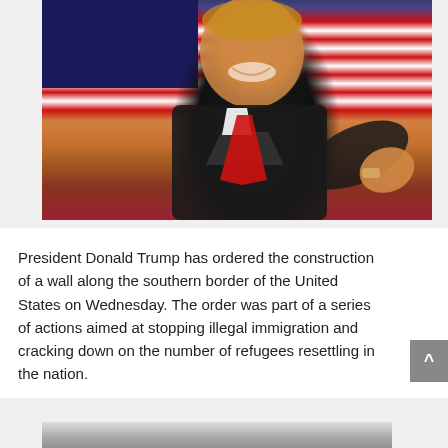[Figure (photo): Donald Trump smiling and pointing at the camera, wearing a black suit with a red tie, in front of an American flag background.]
President Donald Trump has ordered the construction of a wall along the southern border of the United States on Wednesday. The order was part of a series of actions aimed at stopping illegal immigration and cracking down on the number of refugees resettling in the nation.
[Figure (photo): Partial photo visible at the bottom of the page, cropped.]